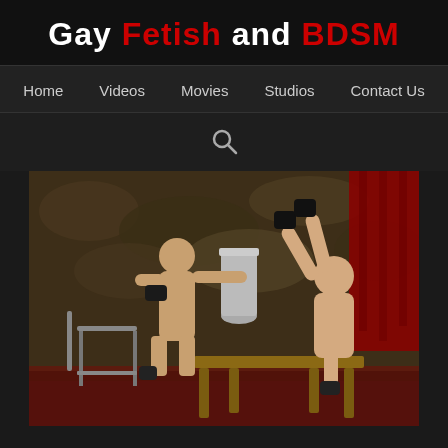Gay Fetish and BDSM
Home  Videos  Movies  Studios  Contact Us
[Figure (photo): Two male figures in an adult BDSM scene set against a camouflage backdrop with red curtain, involving a wooden bench and metal chair]